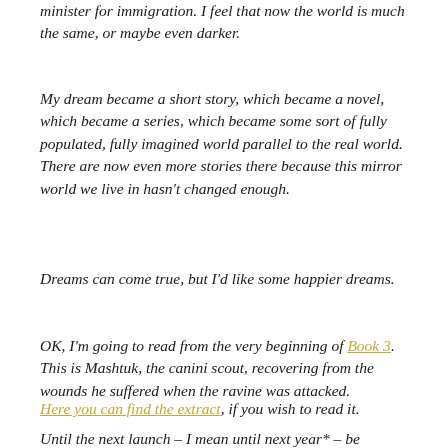minister for immigration. I feel that now the world is much the same, or maybe even darker.
My dream became a short story, which became a novel, which became a series, which became some sort of fully populated, fully imagined world parallel to the real world. There are now even more stories there because this mirror world we live in hasn’t changed enough.
Dreams can come true, but I’d like some happier dreams.
OK, I’m going to read from the very beginning of Book 3. This is Mashtuk, the canini scout, recovering from the wounds he suffered when the ravine was attacked.
Here you can find the extract, if you wish to read it.
Until the next launch – I mean until next year* – be